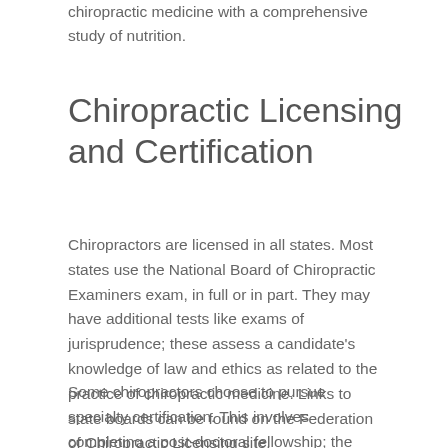chiropractic medicine with a comprehensive study of nutrition.
Chiropractic Licensing and Certification
Chiropractors are licensed in all states. Most states use the National Board of Chiropractic Examiners exam, in full or in part. They may have additional tests like exams of jurisprudence; these assess a candidate's knowledge of law and ethics as related to the practice of chiropractic medicine. Links to state boards can be found on the Federation of Chiropractic Licensing site.
Some chiropractors choose to pursue specialty certification. This involves completing a post-doctoral fellowship; the experience typically culminates in